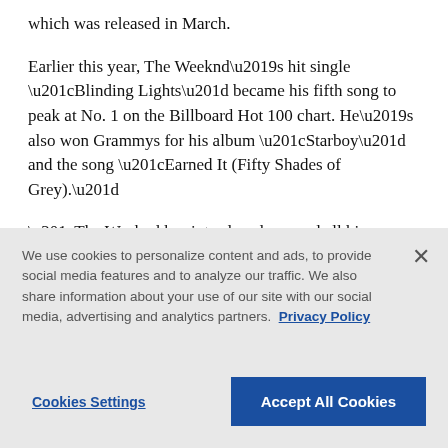which was released in March.
Earlier this year, The Weeknd’s hit single “Blinding Lights” became his fifth song to peak at No. 1 on the Billboard Hot 100 chart. He’s also won Grammys for his album “Starboy” and the song “Earned It (Fifty Shades of Grey).”
“The Weeknd has introduced a sound all his own,” said Jay-Z, founder of Roc Nation. “His soulful uniqueness has defined a new generation of greatness
We use cookies to personalize content and ads, to provide social media features and to analyze our traffic. We also share information about your use of our site with our social media, advertising and analytics partners. Privacy Policy